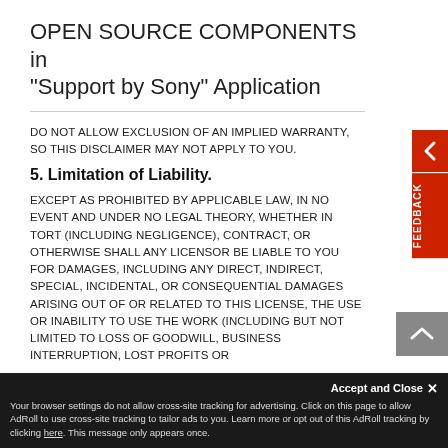OPEN SOURCE COMPONENTS in "Support by Sony" Application
DO NOT ALLOW EXCLUSION OF AN IMPLIED WARRANTY, SO THIS DISCLAIMER MAY NOT APPLY TO YOU.
5. Limitation of Liability.
EXCEPT AS PROHIBITED BY APPLICABLE LAW, IN NO EVENT AND UNDER NO LEGAL THEORY, WHETHER IN TORT (INCLUDING NEGLIGENCE), CONTRACT, OR OTHERWISE SHALL ANY LICENSOR BE LIABLE TO YOU FOR DAMAGES, INCLUDING ANY DIRECT, INDIRECT, SPECIAL, INCIDENTAL, OR CONSEQUENTIAL DAMAGES ARISING OUT OF OR RELATED TO THIS LICENSE, THE USE OR INABILITY TO USE THE WORK (INCLUDING BUT NOT LIMITED TO LOSS OF GOODWILL, BUSINESS INTERRUPTION, LOST PROFITS OR
Your browser settings do not allow cross-site tracking for advertising. Click on this page to allow AdRoll to use cross-site tracking to tailor ads to you. Learn more or opt out of this AdRoll tracking by clicking here. This message only appears once.